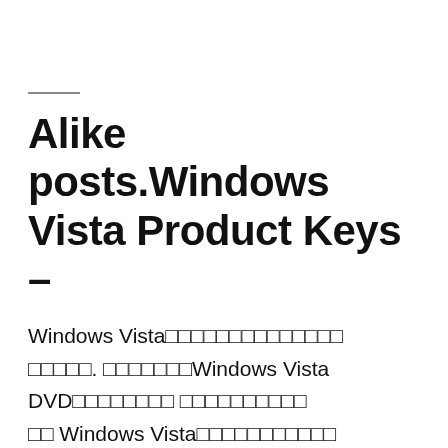Alike posts.Windows Vista Product Keys –
Windows Vista□□□□□□□□□□□□□□□□□□. □□□□□□□Windows Vista DVD□□□□□□□□ □□□□□□□□□□ Windows Vista□□□□□□□□□□□